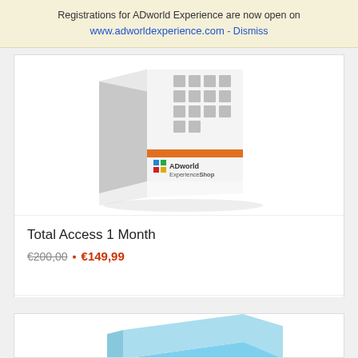Registrations for ADworld Experience are now open on www.adworldexperience.com - Dismiss
[Figure (photo): ADworld ExperienceShop product box with grey grid pattern, orange stripe, and colored logo]
Total Access 1 Month
€200,00 • €149,99
Add to cart   Show Details
[Figure (photo): Bottom portion of another product card showing a light blue book or document graphic]